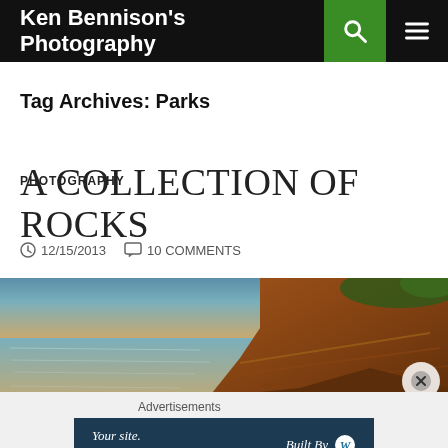Ken Bennison's Photography
Tag Archives: Parks
PHOTOGRAPHY
A COLLECTION OF ROCKS
12/15/2013   10 COMMENTS
[Figure (photo): Landscape photo of rocky cliffs and calm water, warm golden and teal tones]
Advertisements
Your site. Built by us. Built for you.   Built By [WordPress logo]